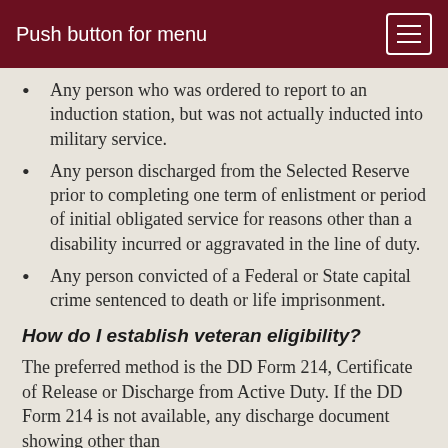Push button for menu
Any person who was ordered to report to an induction station, but was not actually inducted into military service.
Any person discharged from the Selected Reserve prior to completing one term of enlistment or period of initial obligated service for reasons other than a disability incurred or aggravated in the line of duty.
Any person convicted of a Federal or State capital crime sentenced to death or life imprisonment.
How do I establish veteran eligibility?
The preferred method is the DD Form 214, Certificate of Release or Discharge from Active Duty.  If the DD Form 214 is not available, any discharge document showing other than